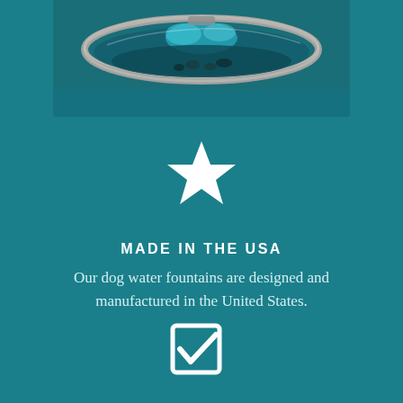[Figure (photo): Close-up photo of a dog water fountain with water splashing, metallic rim, dark background, teal/green tones]
[Figure (illustration): White five-pointed star icon on teal background]
MADE IN THE USA
Our dog water fountains are designed and manufactured in the United States.
[Figure (illustration): White checkbox icon with checkmark on teal background]